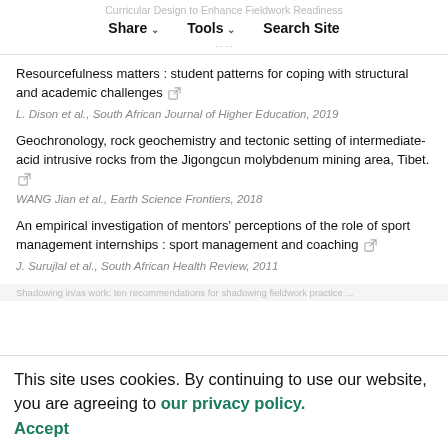Curricular Design to Enhance Fieldwork Readiness | Share | Tools | Search Site
Resourcefulness matters : student patterns for coping with structural and academic challenges
L. Dison et al., South African Journal of Higher Education, 2019
Geochronology, rock geochemistry and tectonic setting of intermediate-acid intrusive rocks from the Jigongcun molybdenum mining area, Tibet.
WANG Jian et al., Earth Science Frontiers, 2018
An empirical investigation of mentors' perceptions of the role of sport management internships : sport management and coaching
J. Surujlal et al., South African Health Review, 2011
This site uses cookies. By continuing to use our website, you are agreeing to our privacy policy. Accept